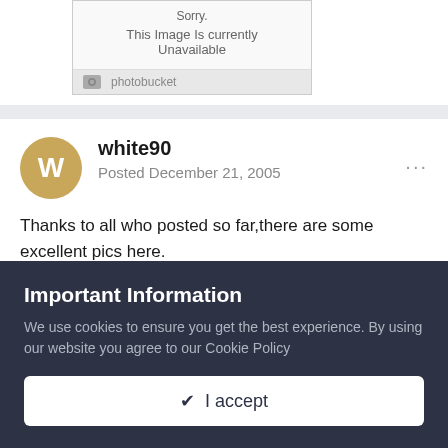[Figure (screenshot): Photobucket image placeholder showing 'Sorry. This Image Is currently Unavailable' with photobucket logo bar below]
Thanks to all who posted so far,there are some excellent pics here.

All posts unrelated are in the mods forum, if you need/want thm , please say.
Important Information
We use cookies to ensure you get the best experience. By using our website you agree to our Cookie Policy
✔ I accept